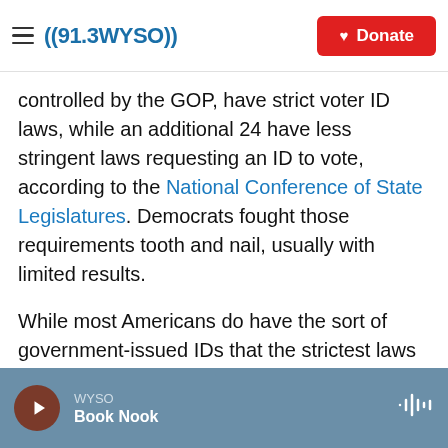≡ ((91.3WYSO))   ♥ Donate
controlled by the GOP, have strict voter ID laws, while an additional 24 have less stringent laws requesting an ID to vote, according to the National Conference of State Legislatures. Democrats fought those requirements tooth and nail, usually with limited results.
While most Americans do have the sort of government-issued IDs that the strictest laws call for, the millions of Americans who don't are more likely to be eligible voters from marginalized groups.
WYSO  Book Nook